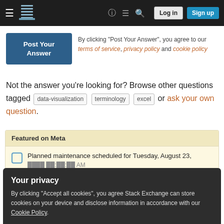Stack Exchange navigation bar with Log in and Sign up buttons
By clicking "Post Your Answer", you agree to our terms of service, privacy policy and cookie policy
Not the answer you're looking for? Browse other questions tagged data-visualization terminology excel or ask your own question.
Featured on Meta
Planned maintenance scheduled for Tuesday, August 23,
Your privacy
By clicking "Accept all cookies", you agree Stack Exchange can store cookies on your device and disclose information in accordance with our Cookie Policy.
What kind of graph should I choose